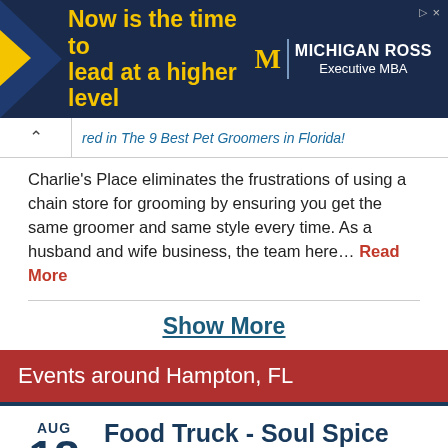[Figure (illustration): Michigan Ross Executive MBA advertisement banner with yellow triangle logo, yellow headline text 'Now is the time to lead at a higher level', and white Michigan Ross Executive MBA logo on dark navy background.]
red in The 9 Best Pet Groomers in Florida!
Charlie's Place eliminates the frustrations of using a chain store for grooming by ensuring you get the same groomer and same style every time. As a husband and wife business, the team here… Read More
Show More
Events around Hampton, FL
AUG 18 Food Truck - Soul Spice 4:00 PM Cypress & Grove Brewing Company, Gainesville, FL